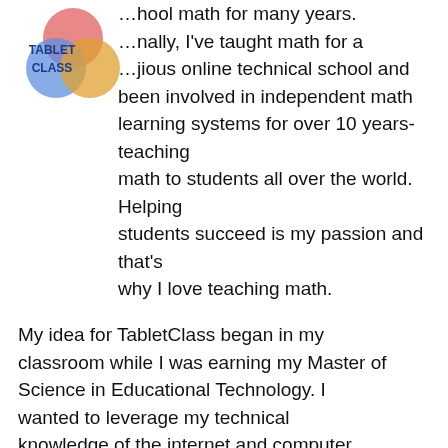[Figure (logo): TabletClass logo with overlapping colorful circles and blue text reading TABLET CLASS]
...hool math for many years. ...nally, I've taught math for a ...jious online technical school and been involved in independent math learning systems for over 10 years- teaching math to students all over the world. Helping students succeed is my passion and that's why I love teaching math.
My idea for TabletClass began in my classroom while I was earning my Master of Science in Educational Technology. I wanted to leverage my technical knowledge of the internet and computer programming to create something special for my students. I started my effort to help students learn outside of class by making